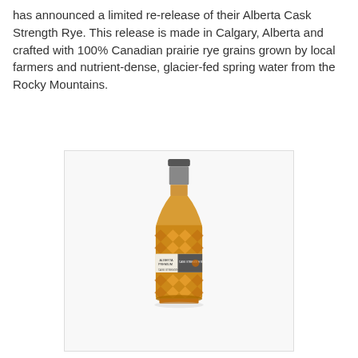has announced a limited re-release of their Alberta Cask Strength Rye. This release is made in Calgary, Alberta and crafted with 100% Canadian prairie rye grains grown by local farmers and nutrient-dense, glacier-fed spring water from the Rocky Mountains.
[Figure (photo): Photo of an Alberta Premium Cask Strength Rye whisky bottle with a distinctive diamond-cut amber glass body and dark metallic cap, white label in the middle.]